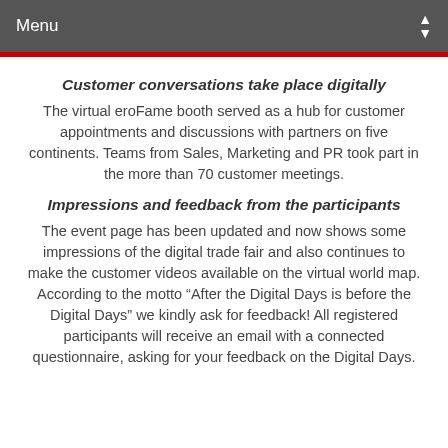Menu
Customer conversations take place digitally
The virtual eroFame booth served as a hub for customer appointments and discussions with partners on five continents. Teams from Sales, Marketing and PR took part in the more than 70 customer meetings.
Impressions and feedback from the participants
The event page has been updated and now shows some impressions of the digital trade fair and also continues to make the customer videos available on the virtual world map. According to the motto “After the Digital Days is before the Digital Days” we kindly ask for feedback! All registered participants will receive an email with a connected questionnaire, asking for your feedback on the Digital Days.